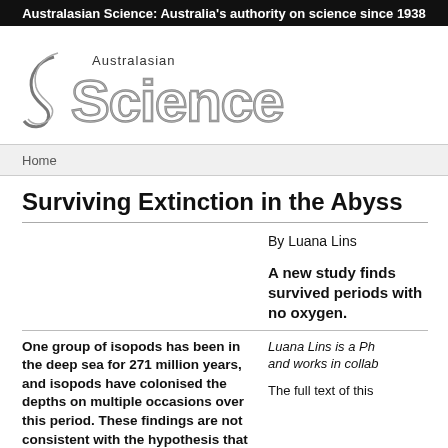Australasian Science: Australia's authority on science since 1938
[Figure (logo): Australasian Science magazine logo]
Home
Surviving Extinction in the Abyss
By Luana Lins
A new study finds survived periods with no oxygen.
One group of isopods has been in the deep sea for 271 million years, and isopods have colonised the depths on multiple occasions over this period. These findings are not consistent with the hypothesis that the deep-sea fauna became extinct during the anoxic
Luana Lins is a Ph and works in collab
The full text of this